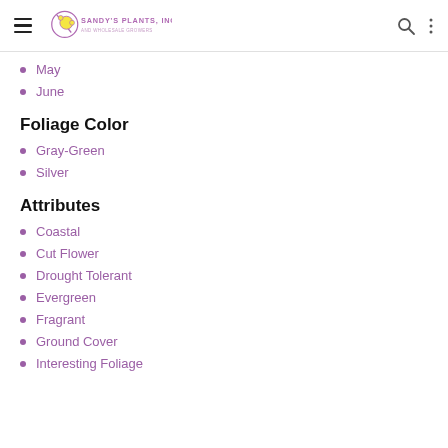Sandy's Plants, Inc.
May
June
Foliage Color
Gray-Green
Silver
Attributes
Coastal
Cut Flower
Drought Tolerant
Evergreen
Fragrant
Ground Cover
Interesting Foliage